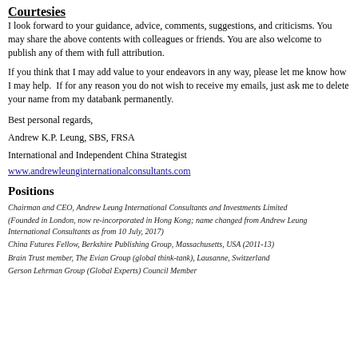Courtesies
I look forward to your guidance, advice, comments, suggestions, and criticisms. You may share the above contents with colleagues or friends. You are also welcome to publish any of them with full attribution.
If you think that I may add value to your endeavors in any way, please let me know how I may help.  If for any reason you do not wish to receive my emails, just ask me to delete your name from my databank permanently.
Best personal regards,
Andrew K.P. Leung, SBS, FRSA
International and Independent China Strategist
www.andrewleunginternationalconsultants.com
Positions
Chairman and CEO, Andrew Leung International Consultants and Investments Limited
(Founded in London, now re-incorporated in Hong Kong; name changed from Andrew Leung International Consultants as from 10 July, 2017)
China Futures Fellow, Berkshire Publishing Group, Massachusetts, USA (2011-13)
Brain Trust member, The Evian Group (global think-tank), Lausanne, Switzerland
Gerson Lehrman Group (Global Experts) Council Member